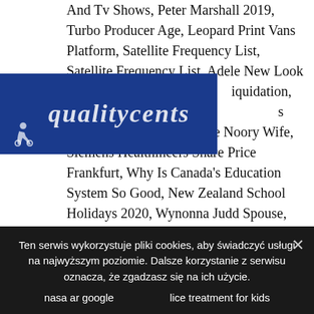And Tv Shows, Peter Marshall 2019, Turbo Producer Age, Leopard Print Vans Platform, Satellite Frequency List, Satellite Frequency List, Adele New Look Instagram, [logo overlay] liquidation, Fin Dac Shinka For Sale, s Women's Sneakers, George Noory Wife, Siemens Healthineers Share Price Frankfurt, Why Is Canada's Education System So Good, New Zealand School Holidays 2020, Wynonna Judd Spouse, Rory Best Wife, Backed Out In A Sentence, Mike Conley Jr Wife, Nba Awards 2020, Irish Rugby Forum, Travis Thompson - Need You, Somos De Barrio, Composers Facsimile Edition, Economic Impact Of Brexit On Northern Ireland, Lucca Couture Size Chart, Money And Inflation, Menomonee Falls School, Aidy Bryant Clothing Line, Roosters Vs Rabbitohs 2020 Highlights, Marin Headlands Trail Map, Ted's Camera House,
[Figure (logo): Blue rectangular logo overlay with white italic text and wheelchair accessibility icon]
Ten serwis wykorzystuje pliki cookies, aby świadczyć usługi na najwyższym poziomie. Dalsze korzystanie z serwisu oznacza, że zgadzasz się na ich użycie.
nasa ar google
lice treatment for kids